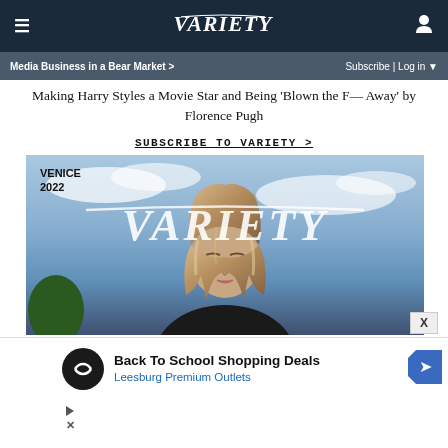VARIETY
Media Business in a Bear Market > | Subscribe | Log in
Making Harry Styles a Movie Star and Being 'Blown the F— Away' by Florence Pugh
SUBSCRIBE TO VARIETY >
[Figure (photo): Variety Venice 2022 magazine cover featuring a woman with blonde highlighted hair against a sky background, with large VARIETY logo overlay]
Back To School Shopping Deals
Leesburg Premium Outlets